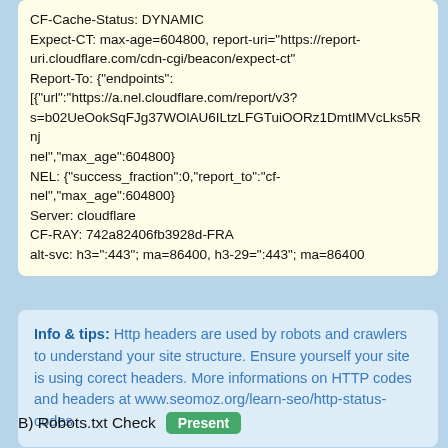CF-Cache-Status: DYNAMIC
Expect-CT: max-age=604800, report-uri="https://report-uri.cloudflare.com/cdn-cgi/beacon/expect-ct"
Report-To: {"endpoints":[{"url":"https://a.nel.cloudflare.com/report/v3?s=b02UeOokSqFJg37WOlAU6ILtzLFGTuiOORz1DmtIMVcLks5Rnj nel","max_age":604800}
NEL: {"success_fraction":0,"report_to":"cf-nel","max_age":604800}
Server: cloudflare
CF-RAY: 742a82406fb3928d-FRA
alt-svc: h3=":443"; ma=86400, h3-29=":443"; ma=86400
Info & tips: Http headers are used by robots and crawlers to understand your site structure. Ensure yourself your site is using corect headers. More informations on HTTP codes and headers at www.seomoz.org/learn-seo/http-status-codes
B) Robots.txt Check Present